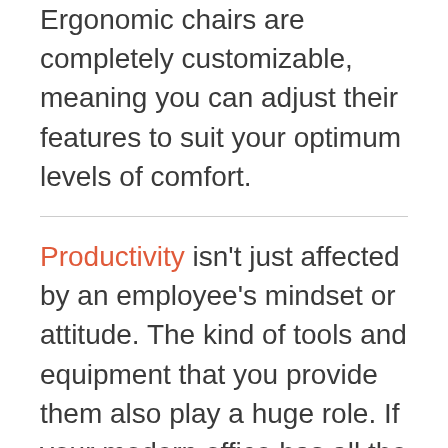Ergonomic chairs are completely customizable, meaning you can adjust their features to suit your optimum levels of comfort.
Productivity isn't just affected by an employee's mindset or attitude. The kind of tools and equipment that you provide them also play a huge role. If your modern office has all the necessities, then you can be sure that every employee will try their best.
However, if you lack these modern tools, no employee will be able to